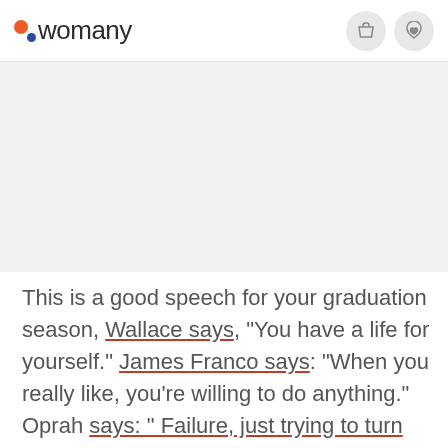womany
[Figure (other): Gray placeholder image area]
This is a good speech for your graduation season, Wallace says, "You have a life for yourself." James Franco says: "When you really like, you're willing to do anything." Oprah says: " Failure, just trying to turn us around...